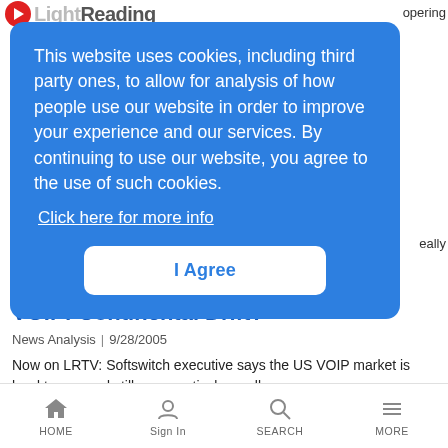LightReading
This website uses cookies, including third party ones, to allow for analysis of how people use our website in order to improve your experience and our services. By continuing to use our website, you agree to the use of such cookies.
Click here for more info
I Agree
VOIP: Continental Drift?
News Analysis | 9/28/2005
Now on LRTV: Softswitch executive says the US VOIP market is hard to peg and still comparatively small
HOME  Sign In  SEARCH  MORE